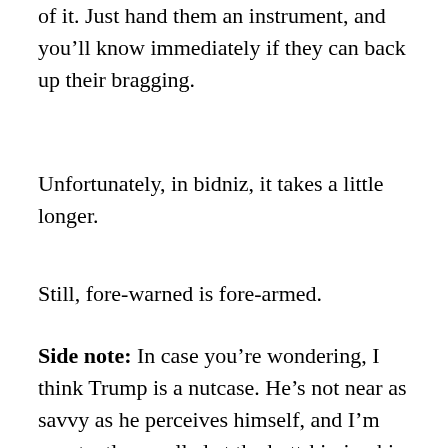of it. Just hand them an instrument, and you'll know immediately if they can back up their bragging.
Unfortunately, in bidniz, it takes a little longer.
Still, fore-warned is fore-armed.
Side note: In case you're wondering, I think Trump is a nutcase. He's not near as savvy as he perceives himself, and I'm constantly appalled at the butt-kissing his assistants do. That